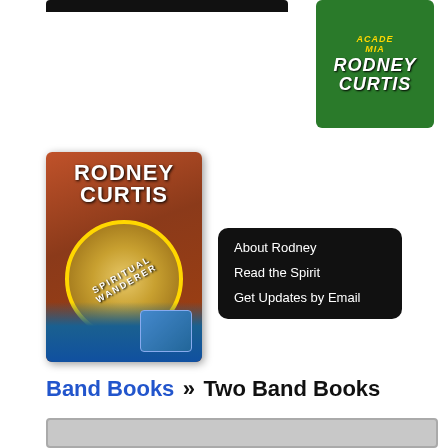[Figure (photo): Top black navigation bar (partially visible/cropped)]
[Figure (photo): Green book cover for Rodney Curtis (cropped, top-right), showing title text in yellow italic and RODNEY CURTIS in bold white letters]
[Figure (photo): Book cover for Rodney Curtis - Spiritual Wanderer, brown/terracotta background with circular emblem, globe imagery at bottom]
About Rodney
Read the Spirit
Get Updates by Email
Band Books » Two Band Books
[Figure (other): Gray content area placeholder box]